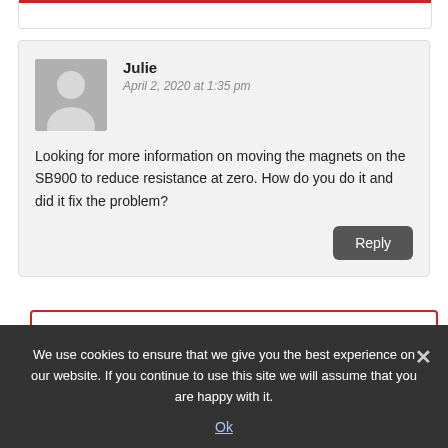Julie
April 2, 2020 at 1:35 pm
Looking for more information on moving the magnets on the SB900 to reduce resistance at zero. How do you do it and did it fix the problem?
Reply
Paul
We use cookies to ensure that we give you the best experience on our website. If you continue to use this site we will assume that you are happy with it.
Ok